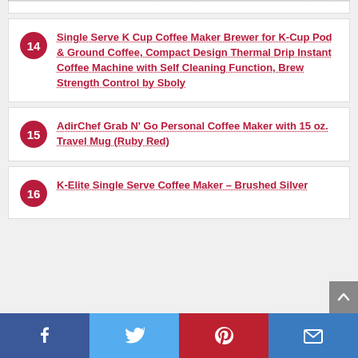14 – Single Serve K Cup Coffee Maker Brewer for K-Cup Pod & Ground Coffee, Compact Design Thermal Drip Instant Coffee Machine with Self Cleaning Function, Brew Strength Control by Sboly
15 – AdirChef Grab N' Go Personal Coffee Maker with 15 oz. Travel Mug (Ruby Red)
16 – K-Elite Single Serve Coffee Maker – Brushed Silver
Facebook | Twitter | Pinterest | Email